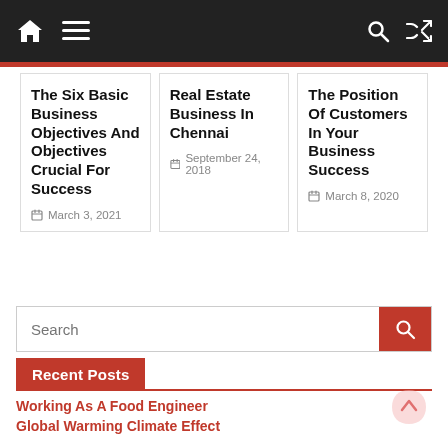Navigation bar with home, menu, search, shuffle icons
The Six Basic Business Objectives And Objectives Crucial For Success
March 3, 2021
Real Estate Business In Chennai
September 24, 2018
The Position Of Customers In Your Business Success
March 8, 2020
Search
Recent Posts
Working As A Food Engineer
Global Warming Climate Effect